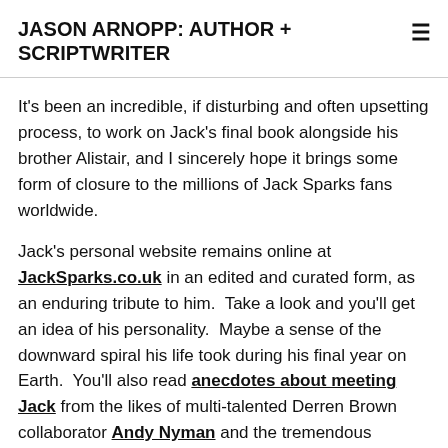JASON ARNOPP: AUTHOR + SCRIPTWRITER
It's been an incredible, if disturbing and often upsetting process, to work on Jack's final book alongside his brother Alistair, and I sincerely hope it brings some form of closure to the millions of Jack Sparks fans worldwide.
Jack's personal website remains online at JackSparks.co.uk in an edited and curated form, as an enduring tribute to him.  Take a look and you'll get an idea of his personality.  Maybe a sense of the downward spiral his life took during his final year on Earth.  You'll also read anecdotes about meeting Jack from the likes of multi-talented Derren Brown collaborator Andy Nyman and the tremendous authors Sarah Lotz, MR Carey, Christopher Brookmyre and John Higgs